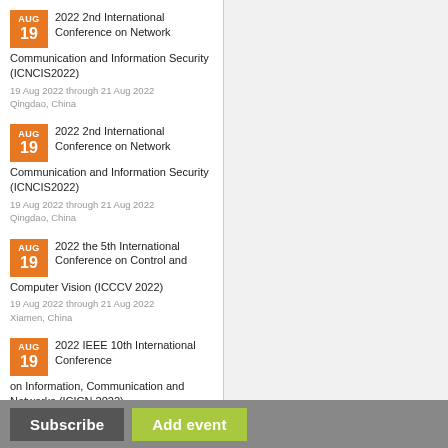AUG 19 | 2022 2nd International Conference on Network Communication and Information Security (ICNCIS2022) | 19 Aug 2022 through 21 Aug 2022 | Qingdao, China
AUG 19 | 2022 2nd International Conference on Network Communication and Information Security (ICNCIS2022) | 19 Aug 2022 through 21 Aug 2022 | Qingdao, China
AUG 19 | 2022 the 5th International Conference on Control and Computer Vision (ICCCV 2022) | 19 Aug 2022 through 21 Aug 2022 | Xiamen, China
AUG 19 | 2022 IEEE 10th International Conference on Information, Communication and Networks (ICICN 2022) | 19 Aug 2022 through 22 Aug 2022 | Zhangye, China
AUG | 2022 4th International...
Subscribe | Add event